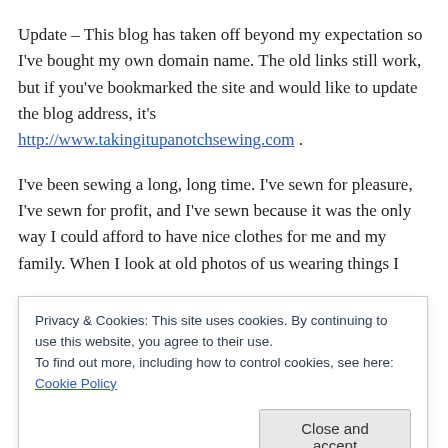Update – This blog has taken off beyond my expectation so I've bought my own domain name. The old links still work, but if you've bookmarked the site and would like to update the blog address, it's http://www.takingitupanotchsewing.com .
I've been sewing a long, long time. I've sewn for pleasure, I've sewn for profit, and I've sewn because it was the only way I could afford to have nice clothes for me and my family. When I look at old photos of us wearing things I
Privacy & Cookies: This site uses cookies. By continuing to use this website, you agree to their use. To find out more, including how to control cookies, see here: Cookie Policy
decorative stitching that is a little lopsided, and stripes and